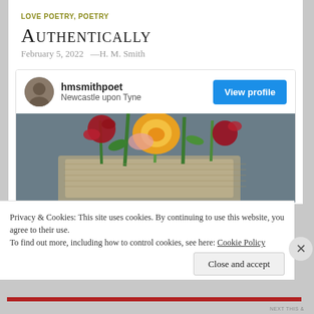LOVE POETRY, POETRY
Authentically
February 5, 2022   —H. M. Smith
[Figure (infographic): Profile card for hmsmithpoet showing avatar, name, location 'Newcastle upon Tyne', and a blue 'View profile' button, with a photo of colourful flowers in a burlap-wrapped jar below.]
Privacy & Cookies: This site uses cookies. By continuing to use this website, you agree to their use.
To find out more, including how to control cookies, see here: Cookie Policy
Close and accept